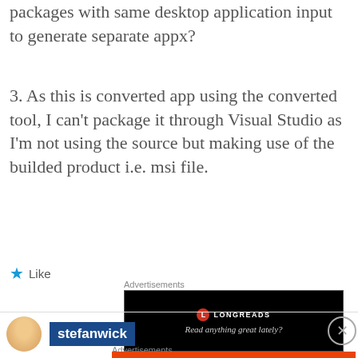packages with same desktop application input to generate separate appx?
3. As this is converted app using the converted tool, I can't package it through Visual Studio as I'm not using the source but making use of the builded product i.e. msi file.
★ Like
Advertisements
[Figure (other): Longreads advertisement banner: circular red L logo, text LONGREADS, tagline 'Read anything great lately?']
REPORT THIS AD
[Figure (other): User avatar photo (circular) and username badge 'stefanwick' in dark blue]
Advertisements
[Figure (other): DuckDuckGo advertisement: orange background with text 'Search, browse, and email with more privacy. All in One Free App' and DuckDuckGo logo on dark right panel]